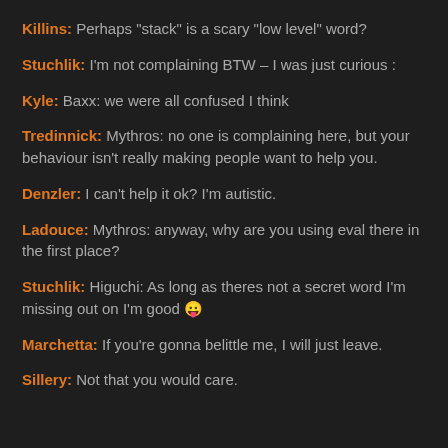Killins: Perhaps "stack" is a scary "low level" word?
Stuchlik: I'm not complaining BTW – I was just curious :
Kyle: Baxx: we were all confused I think
Tredinnick: Mythros: no one is complaining here, but your behaviour isn't really making people want to help you.
Denzler: I can't help it ok? I'm autistic.
Ladouce: Mythros: anyway, why are you using eval there in the first place?
Stuchlik: Higuchi: As long as theres not a secret word I'm missing out on I'm good 😛
Marchetta: If you're gonna belittle me, I will just leave.
Sillery: Not that you would care.